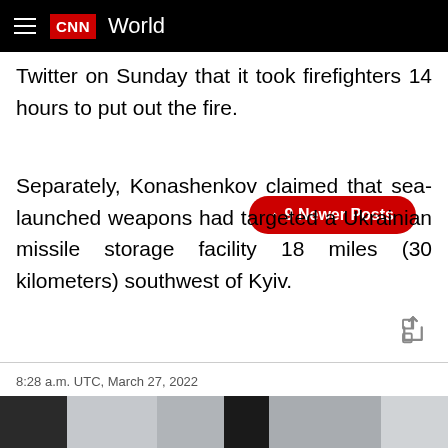CNN World
Twitter on Sunday that it took firefighters 14 hours to put out the fire.
Separately, Konashenkov claimed that sea-launched weapons had targeted a Ukrainian missile storage facility 18 miles (30 kilometers) southwest of Kyiv.
8:28 a.m. UTC, March 27, 2022
Berlin theater shows solidarity with Mariupol theater by writing "children" on entrance
From CNN's Radina Gigova
[Figure (photo): Partial view of a theater building entrance, partially visible at bottom of page]